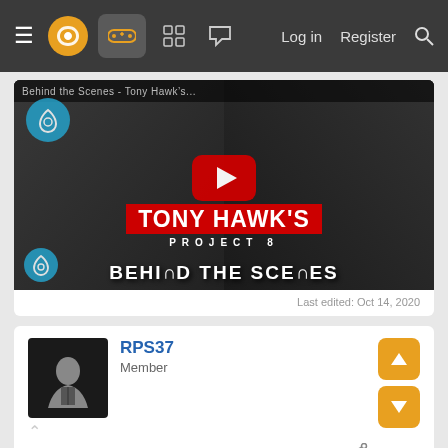Navigation bar with menu, logo, controller icon, grid icon, chat icon, Log in, Register, Search
[Figure (screenshot): YouTube video thumbnail for Tony Hawk's Project 8 Behind the Scenes video showing two people and the game title]
Last edited: Oct 14, 2020
RPS37
Member
Oct 23, 2020
I thought I'd hit a wall with this game, then I discovered create